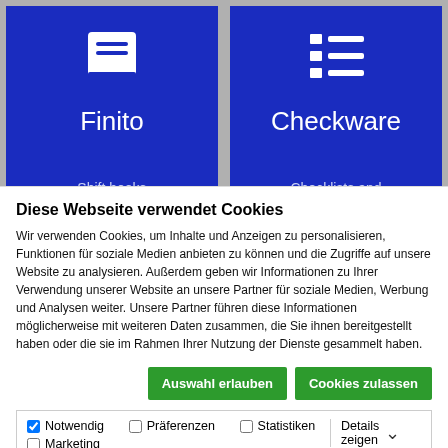[Figure (screenshot): Two blue app cards side by side: 'Finito' with a book icon and subtitle 'Shift books', and 'Checkware' with a list icon and subtitle 'Checklists and']
Diese Webseite verwendet Cookies
Wir verwenden Cookies, um Inhalte und Anzeigen zu personalisieren, Funktionen für soziale Medien anbieten zu können und die Zugriffe auf unsere Website zu analysieren. Außerdem geben wir Informationen zu Ihrer Verwendung unserer Website an unsere Partner für soziale Medien, Werbung und Analysen weiter. Unsere Partner führen diese Informationen möglicherweise mit weiteren Daten zusammen, die Sie ihnen bereitgestellt haben oder die sie im Rahmen Ihrer Nutzung der Dienste gesammelt haben.
Auswahl erlauben | Cookies zulassen
☑ Notwendig  □ Präferenzen  □ Statistiken  □ Marketing  Details zeigen ∨